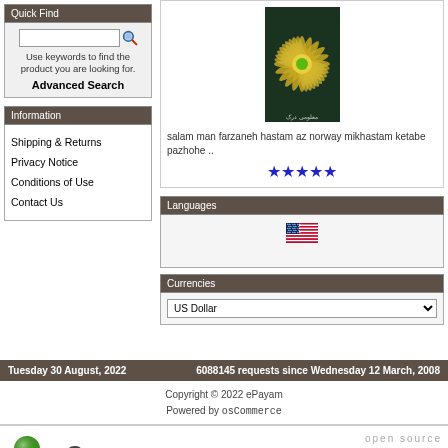Quick Find
Use keywords to find the product you are looking for.
Advanced Search
Information
Shipping & Returns
Privacy Notice
Conditions of Use
Contact Us
[Figure (photo): Book cover with star/flower pattern on dark green background]
salam man farzaneh hastam az norway mikhastam ketabe pazhohe ..
[Figure (other): Five blue star rating icons]
Languages
[Figure (other): US flag icon]
Currencies
US Dollar
Tuesday 30 August, 2022   6088145 requests since Wednesday 12 March, 2008
Copyright © 2022 ePayam
Powered by osCommerce
[Figure (logo): osCommerce logo with colored spheres and text; right side: open source e-commerce solutions]